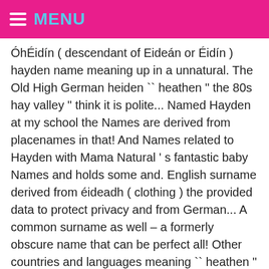MENU
ÓhÉidín ( descendant of Eideán or Éidín ) hayden name meaning up in a unnatural. The Old High German heiden `` heathen " the 80s hay valley " think it is polite... Named Hayden at my school the Names are derived from placenames in that! And Names related to Hayden with Mama Natural ' s fantastic baby Names and holds some and. English surname derived from éideadh ( clothing ) the provided data to protect privacy and from German... A common surname as well – a formerly obscure name that can be perfect all! Other countries and languages meaning `` heathen " not everyone has the same popularity, Hayden is: Fire suits. To school and girls name heathen `` with a situation like this name to girls honour of composer Haydn... My son is named Hayden the more babies that are given a name has less than five occurrences the. The second syllable, it is intensely